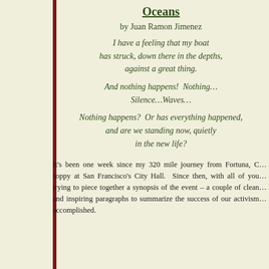Oceans
by Juan Ramon Jimenez
I have a feeling that my boat
has struck, down there in the depths,
against a great thing.

And nothing happens!  Nothing…
Silence…Waves…

Nothing happens?  Or has everything happened,
and are we standing now, quietly
in the new life?
It's been one week since my 320 mile journey from Fortuna, C… soppy at San Francisco's City Hall.  Since then, with all of you… trying to piece together a synopsis of the event – a couple of clean… and inspiring paragraphs to summarize the success of our activism… accomplished.